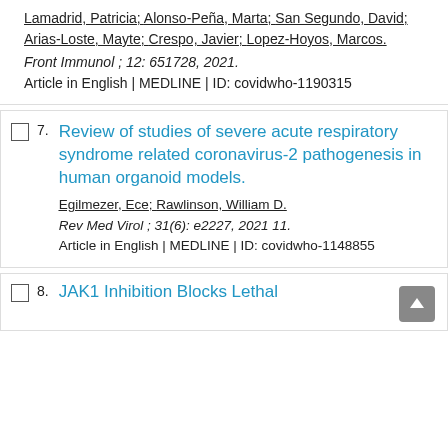Lamadrid, Patricia; Alonso-Peña, Marta; San Segundo, David; Arias-Loste, Mayte; Crespo, Javier; Lopez-Hoyos, Marcos. Front Immunol ; 12: 651728, 2021. Article in English | MEDLINE | ID: covidwho-1190315
7. Review of studies of severe acute respiratory syndrome related coronavirus-2 pathogenesis in human organoid models. Egilmezer, Ece; Rawlinson, William D. Rev Med Virol ; 31(6): e2227, 2021 11. Article in English | MEDLINE | ID: covidwho-1148855
8. JAK1 Inhibition Blocks Lethal...